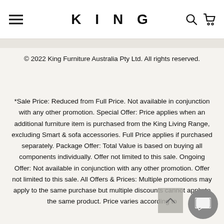KING
© 2022 King Furniture Australia Pty Ltd. All rights reserved.
*Sale Price: Reduced from Full Price. Not available in conjunction with any other promotion. Special Offer: Price applies when an additional furniture item is purchased from the King Living Range, excluding Smart & sofa accessories. Full Price applies if purchased separately. Package Offer: Total Value is based on buying all components individually. Offer not limited to this sale. Ongoing Offer: Not available in conjunction with any other promotion. Offer not limited to this sale. All Offers & Prices: Multiple promotions may apply to the same purchase but multiple discounts cannot apply to the same product. Price varies according to